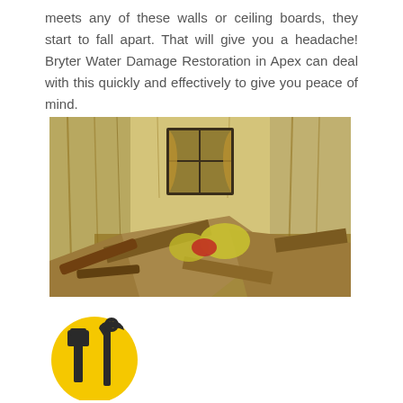meets any of these walls or ceiling boards, they start to fall apart. That will give you a headache! Bryter Water Damage Restoration in Apex can deal with this quickly and effectively to give you peace of mind.
[Figure (photo): Interior of a water-damaged room with stained walls, debris, broken furniture and pillows scattered on floor, with a window visible in the background.]
[Figure (logo): Yellow circular logo with a pipe wrench and plumbing tools icon, representing a plumbing or restoration service.]